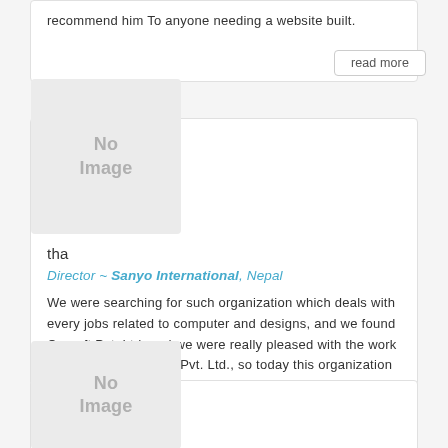recommend him To anyone needing a website built.
read more
[Figure (photo): No Image placeholder box for second testimonial card]
tha
Director ~ Sanyo International, Nepal
We were searching for such organization which deals with every jobs related to computer and designs, and we found Orasoft Pvt. Ltd. and we were really pleased with the work and quality of Orasoft Pvt. Ltd., so today this organization works for graphics and web designing as well as over all jobs related to computers for our organization. We wish them all the Best.
read more
[Figure (photo): No Image placeholder box for third testimonial card (partially visible)]